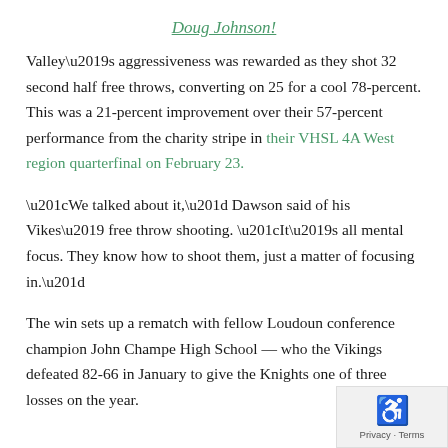Doug Johnson!
Valley’s aggressiveness was rewarded as they shot 32 second half free throws, converting on 25 for a cool 78-percent. This was a 21-percent improvement over their 57-percent performance from the charity stripe in their VHSL 4A West region quarterfinal on February 23.
“We talked about it,” Dawson said of his Vikes’ free throw shooting. “It’s all mental focus. They know how to shoot them, just a matter of focusing in.”
The win sets up a rematch with fellow Loudoun conference champion John Champe High School — who the Vikings defeated 82-66 in January to give the Knights one of three losses on the year.